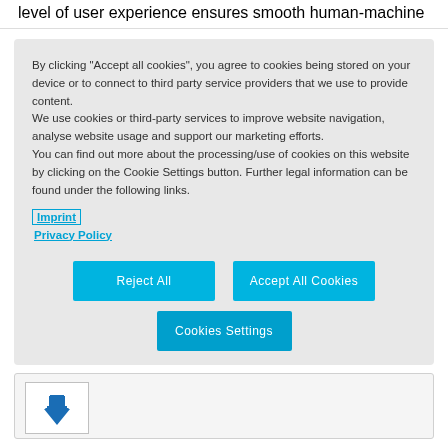level of user experience ensures smooth human-machine
By clicking "Accept all cookies", you agree to cookies being stored on your device or to connect to third party service providers that we use to provide content.
We use cookies or third-party services to improve website navigation, analyse website usage and support our marketing efforts.
You can find out more about the processing/use of cookies on this website by clicking on the Cookie Settings button. Further legal information can be found under the following links.
Imprint
Privacy Policy
[Figure (screenshot): Cookie consent dialog with Reject All, Accept All Cookies, and Cookies Settings buttons, and a download icon panel at the bottom]